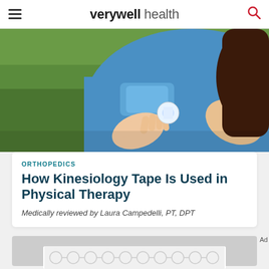verywell health
[Figure (photo): Close-up of hands applying blue kinesiology tape to a person's shoulder, outdoors on grass background]
ORTHOPEDICS
How Kinesiology Tape Is Used in Physical Therapy
Medically reviewed by Laura Campedelli, PT, DPT